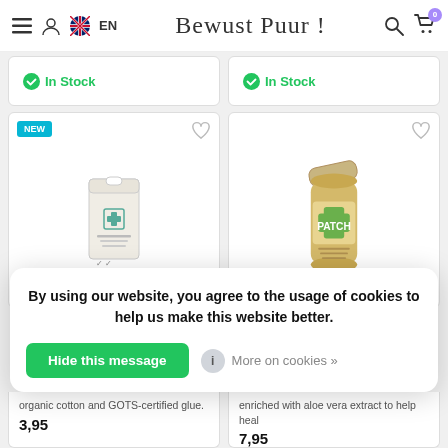Bewust Puur! EN [menu] [user] [search] [cart 0]
In Stock
In Stock
[Figure (photo): Product card with NEW badge showing organic bandage packaging]
[Figure (photo): Product card showing PATCH bamboo bandage container with green cross logo]
By using our website, you agree to the usage of cookies to help us make this website better.
Hide this message
More on cookies »
organic cotton and GOTS-certified glue.
3,95
enriched with aloe vera extract to help heal
7,95